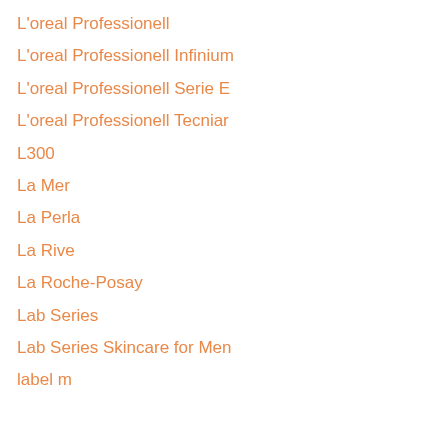L'oreal Professionell
L'oreal Professionell Infinium
L'oreal Professionell Serie E
L'oreal Professionell Tecniar
L300
La Mer
La Perla
La Rive
La Roche-Posay
Lab Series
Lab Series Skincare for Men
label m